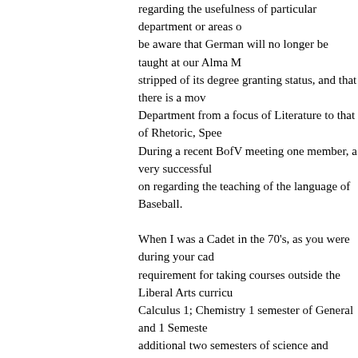regarding the usefulness of particular department or areas of be aware that German will no longer be taught at our Alma M stripped of its degree granting status, and that there is a mov Department from a focus of Literature to that of Rhetoric, Spee During a recent BofV meeting one member, a very successful on regarding the teaching of the language of Baseball.
When I was a Cadet in the 70's, as you were during your cad requirement for taking courses outside the Liberal Arts curricu Calculus 1; Chemistry 1 semester of General and 1 Semeste additional two semesters of science and additional semester particularly well in these courses I believe that they were use anything.
I recently saw a Doctor at Bethesda who was a UVA undergra degree was in Philosophy, although he had to take his preme him why, he said he wanted an education not to learn a trade
The whole debate at UVA and other colleges is about how yo unfortunately the quality of a work of history of literature, or th original German can be measured--without a measurement w they can not prove their self worth.
Posted by: Townie76 | 24 June 2012 at 08:35 PM